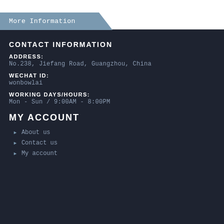More Information
CONTACT INFORMATION
ADDRESS:
No.238, Jiefang Road, Guangzhou, China
WECHAT ID:
wonbowlai
WORKING DAYS/HOURS:
Mon - Sun / 9:00AM - 8:00PM
MY ACCOUNT
About us
Contact us
My account